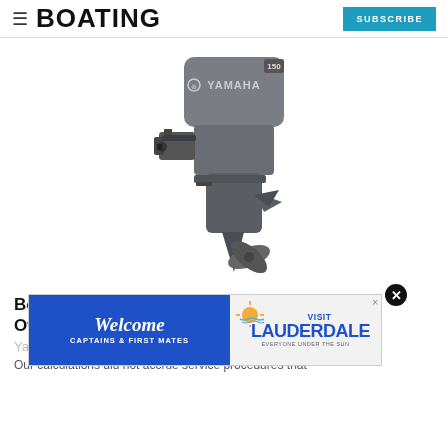BOATING | SUBSCRIBE
[Figure (photo): Yamaha 150 four-stroke outboard motor shown at an angle, grey/silver color with propeller visible at bottom]
BoatingLAB Tests: Outboard Ownership Costs
Yamaha
Our calculations did not accrue service procedures that
[Figure (infographic): Advertisement banner: Welcome Captains & First Mates / Visit Lauderdale, Everyone Under the Sun]